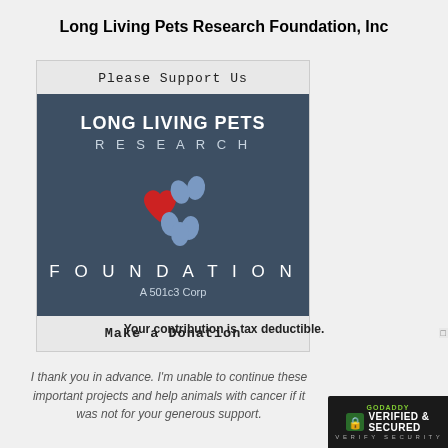Long Living Pets Research Foundation, Inc
[Figure (logo): Long Living Pets Research Foundation logo with paw print (heart and oval shapes) on dark blue background, enclosed in a box with 'Please Support Us' header and 'Make a Donation' footer on light gray background]
Your contribution is tax deductible.
I thank you in advance. I'm unable to continue these important projects and help animals with cancer if it was not for your generous support.
[Figure (logo): GoDaddy Verified & Secured badge in bottom right corner]